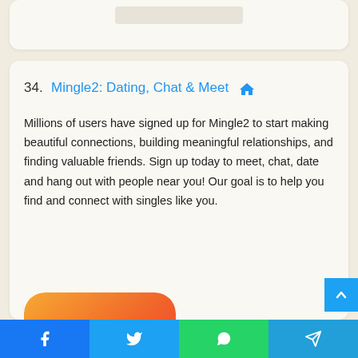34. Mingle2: Dating, Chat & Meet
Millions of users have signed up for Mingle2 to start making beautiful connections, building meaningful relationships, and finding valuable friends. Sign up today to meet, chat, date and hang out with people near you! Our goal is to help you find and connect with singles like you.
[Figure (logo): Mingle2 app logo: orange-to-red gradient rounded square with white cursive letter M]
Facebook | Twitter | WhatsApp | Telegram social share bar